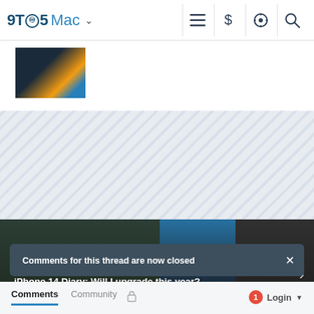9TO5Mac
[Figure (screenshot): Partial article thumbnail showing a laptop/tech image with blue and orange tones]
[Figure (other): Diagonal striped advertisement or placeholder banner area]
[Figure (screenshot): Featured article carousel showing 'iPhone 14 Diary: Will I upgrade this year?' with dark wood, blue gradient, and water texture panels]
Comments for this thread are now closed
Comments  Community  Login